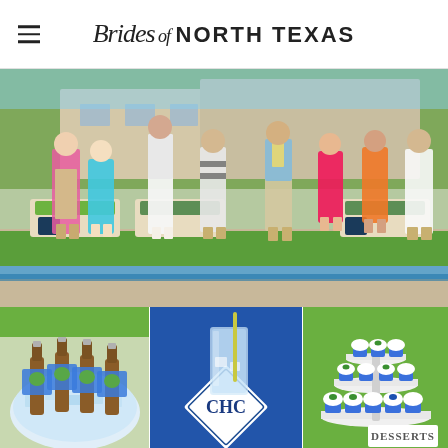Brides of North Texas
[Figure (photo): Group of young men and women in colorful summer attire standing by a pool patio area with lounge chairs and green cushions in the background.]
[Figure (photo): Bowl of ice filled with beer bottles wearing blue paper tags with green footprint logos.]
[Figure (photo): Glass of water with a straw on a blue monogrammed coaster on a blue tablecloth.]
[Figure (photo): Tiered dessert stand with small cupcakes in blue wrappers and a 'Desserts' sign in the foreground.]